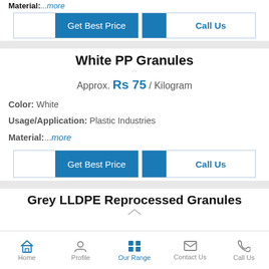Material:...more
Get Best Price | Call Us (button row)
White PP Granules
Approx. Rs 75 / Kilogram
Color: White
Usage/Application: Plastic Industries
Material:...more
Get Best Price | Call Us (button row 2)
Grey LLDPE Reprocessed Granules
Home | Profile | Our Range | Contact Us | Call Us